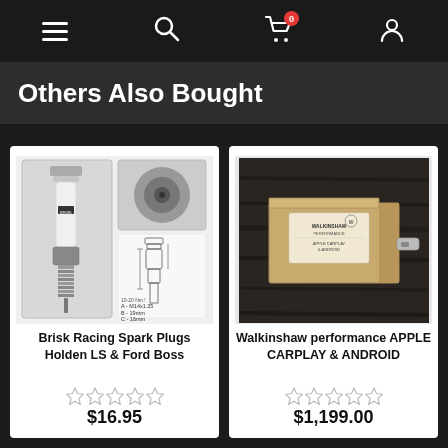Navigation bar with menu, search, cart (0), and account icons
Others Also Bought
[Figure (photo): Brisk Racing Spark Plugs product image showing spark plug with technical diagram indicating A-M14x1.25, B-19mm, C-16mm, 10-20 Nm torque spec]
Brisk Racing Spark Plugs Holden LS & Ford Boss
☆ ☆ ☆ ☆ ☆
$16.95
[Figure (photo): Walkinshaw performance Apple CarPlay & Android product box placed on dark wooden surface]
Walkinshaw performance APPLE CARPLAY & ANDROID
☆ ☆ ☆ ☆ ☆
$1,199.00